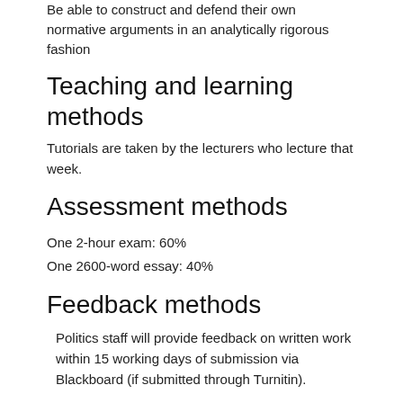Be able to construct and defend their own normative arguments in an analytically rigorous fashion
Teaching and learning methods
Tutorials are taken by the lecturers who lecture that week.
Assessment methods
One 2-hour exam: 60%
One 2600-word essay: 40%
Feedback methods
Politics staff will provide feedback on written work within 15 working days of submission via Blackboard (if submitted through Turnitin).